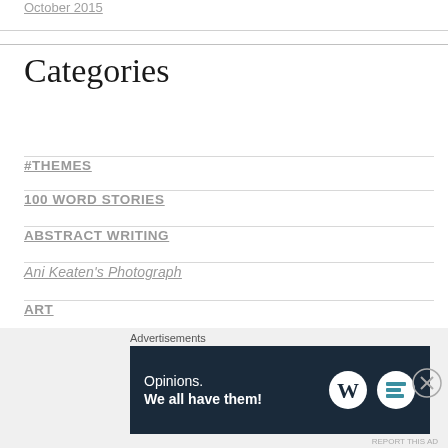October 2015
Categories
#THEMES
100 WORD STORIES
ABSTRACT WRITING
Ani Keaten's Photograph
ART
[Figure (other): WordPress advertisement banner reading 'Opinions. We all have them!' with WordPress and WP logo icons on dark navy background]
Advertisements